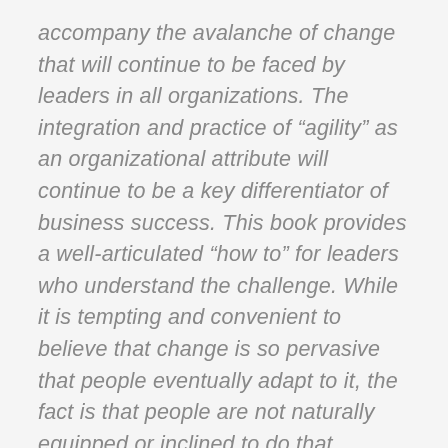accompany the avalanche of change that will continue to be faced by leaders in all organizations. The integration and practice of “agility” as an organizational attribute will continue to be a key differentiator of business success. This book provides a well-articulated “how to” for leaders who understand the challenge. While it is tempting and convenient to believe that change is so pervasive that people eventually adapt to it, the fact is that people are not naturally equipped or inclined to do that. Understanding and leveraging the prescriptive approach explained in the